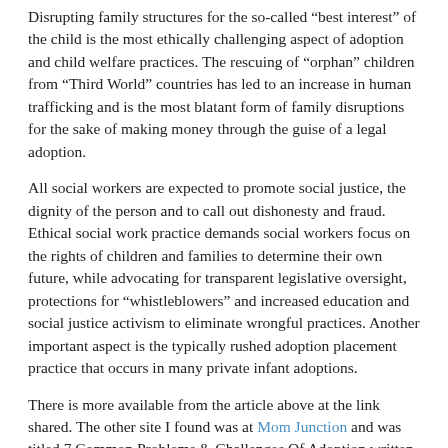Disrupting family structures for the so-called “best interest” of the child is the most ethically challenging aspect of adoption and child welfare practices. The rescuing of “orphan” children from “Third World” countries has led to an increase in human trafficking and is the most blatant form of family disruptions for the sake of making money through the guise of a legal adoption.
All social workers are expected to promote social justice, the dignity of the person and to call out dishonesty and fraud. Ethical social work practice demands social workers focus on the rights of children and families to determine their own future, while advocating for transparent legislative oversight, protections for “whistleblowers” and increased education and social justice activism to eliminate wrongful practices. Another important aspect is the typically rushed adoption placement practice that occurs in many private infant adoptions.
There is more available from the article above at the link shared. The other site I found was at Mom Junction and was titled 7 Common Problems & Challenges Of Adoption written by Debolina Raja as recently as May 24 2022 (just days ago). The image illustrating this blog came from there.
Here’s the list (you can read more about each one at the link) –